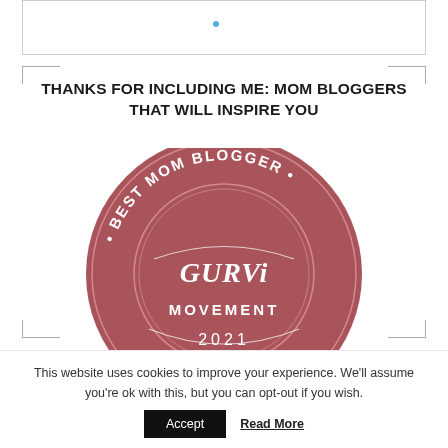[Figure (other): Partial top image/logo area with a small blue dot visible]
THANKS FOR INCLUDING ME: MOM BLOGGERS THAT WILL INSPIRE YOU
[Figure (illustration): Circular badge in dark rose/mauve color reading 'BEST MOM BLOGGER · GURVI MOVEMENT · 2021' with decorative inner circle lines]
This website uses cookies to improve your experience. We'll assume you're ok with this, but you can opt-out if you wish.
Accept  Read More